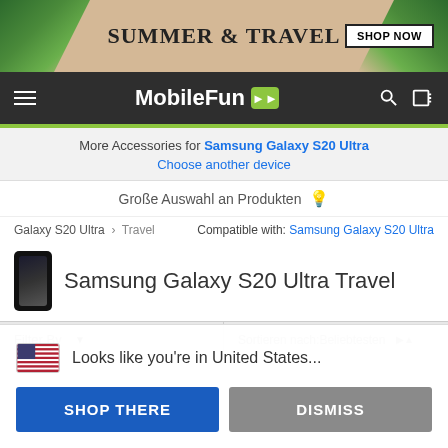[Figure (screenshot): Summer & Travel promotional banner with sunglasses, tropical leaves, and Shop Now button]
[Figure (screenshot): MobileFun navigation bar with hamburger menu, logo, search and cart icons]
More Accessories for Samsung Galaxy S20 Ultra
Choose another device
Große Auswahl an Produkten 💡
Galaxy S20 Ultra › Travel   Compatible with: Samsung Galaxy S20 Ultra
Samsung Galaxy S20 Ultra Travel
Filter By   ▼   Sortieren nach:Beliebtesten ▲
🇺🇸  Looks like you're in United States...
SHOP THERE
DISMISS